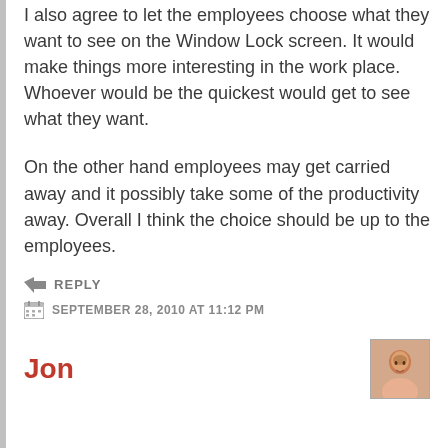I also agree to let the employees choose what they want to see on the Window Lock screen. It would make things more interesting in the work place. Whoever would be the quickest would get to see what they want.
On the other hand employees may get carried away and it possibly take some of the productivity away. Overall I think the choice should be up to the employees.
REPLY
SEPTEMBER 28, 2010 AT 11:12 PM
Jon